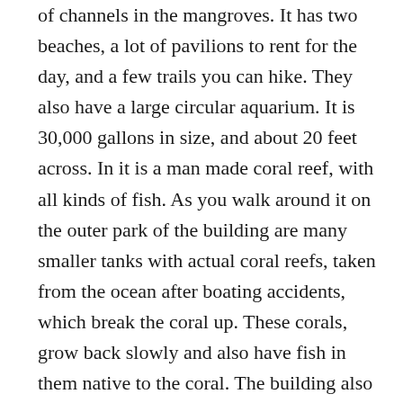of channels in the mangroves. It has two beaches, a lot of pavilions to rent for the day, and a few trails you can hike. They also have a large circular aquarium. It is 30,000 gallons in size, and about 20 feet across. In it is a man made coral reef, with all kinds of fish. As you walk around it on the outer park of the building are many smaller tanks with actual coral reefs, taken from the ocean after boating accidents, which break the coral up. These corals, grow back slowly and also have fish in them native to the coral. The building also serves as the visitor center, for history on the area and the park, along with a movie about it. This is also the park, that is home to the Florida Wildlife control law enforcement unit ,and the harbor patrol police.